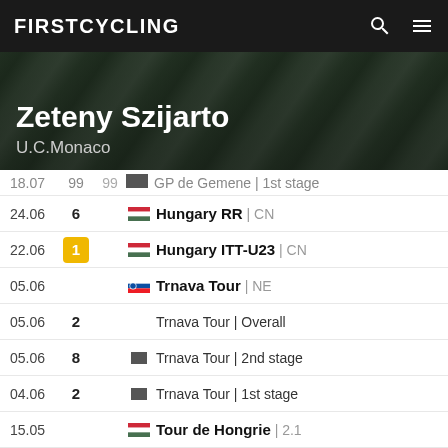FIRSTCYCLING
Zeteny Szijarto
U.C.Monaco
| Date | Pos | PPos | Flag | Race |
| --- | --- | --- | --- | --- |
| 18.07 | 99 | 99 |  | GP de Gemene | 1st stage |
| 24.06 | 6 |  | HU | Hungary RR | CN |
| 22.06 | 1 |  | HU | Hungary ITT-U23 | CN |
| 05.06 |  |  | SK | Trnava Tour | NE |
| 05.06 | 2 |  |  | Trnava Tour | Overall |
| 05.06 | 8 |  |  | Trnava Tour | 2nd stage |
| 04.06 | 2 |  |  | Trnava Tour | 1st stage |
| 15.05 |  |  | HU | Tour de Hongrie | 2.1 |
| 15.05 | 119 |  |  | Tour de Hongrie | Overall |
| 15.05 | 89 | 119 |  | Tour de Hongrie | 5th stage |
| 14.05 | 113 | 116 |  | Tour de Hongrie | 4th stage |
| 13.05 | 59 | 107 |  | Tour de Hongrie | 3rd stage |
| 12.05 | 105 | 117 |  | Tour de Hongrie | 2nd stage |
| 11.05 | 109 | 109 |  | Tour de Hongrie | 1st stage |